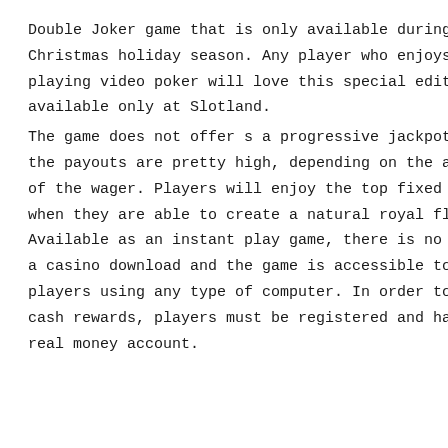Double Joker game that is only available during the Christmas holiday season. Any player who enjoys playing video poker will love this special edition available only at Slotland. The game does not offer s a progressive jackpot, but the payouts are pretty high, depending on the amount of the wager. Players will enjoy the top fixed jackpot when they are able to create a natural royal flush. Available as an instant play game, there is no need for a casino download and the game is accessible to players using any type of computer. In order to collect cash rewards, players must be registered and have a real money account.